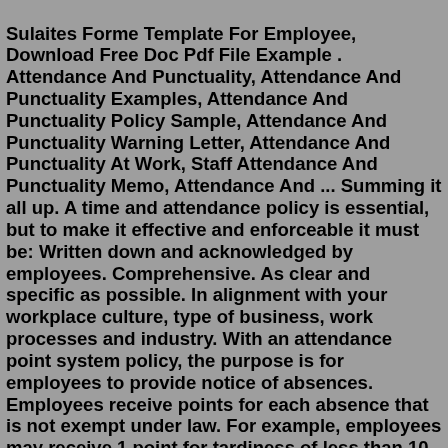Sulaites Forme Template For Employee, Download Free Doc Pdf File Example . Attendance And Punctuality, Attendance And Punctuality Examples, Attendance And Punctuality Policy Sample, Attendance And Punctuality Warning Letter, Attendance And Punctuality At Work, Staff Attendance And Punctuality Memo, Attendance And ... Summing it all up. A time and attendance policy is essential, but to make it effective and enforceable it must be: Written down and acknowledged by employees. Comprehensive. As clear and specific as possible. In alignment with your workplace culture, type of business, work processes and industry. With an attendance point system policy, the purpose is for employees to provide notice of absences. Employees receive points for each absence that is not exempt under law. For example, employees may receive 1 point for tardiness of less than 10 minutes and 3 points being late 15 minutes to 2 hours, and 5 points for a no-show absence.VPK ATTENDANCE/TARDINESS POLICY (The